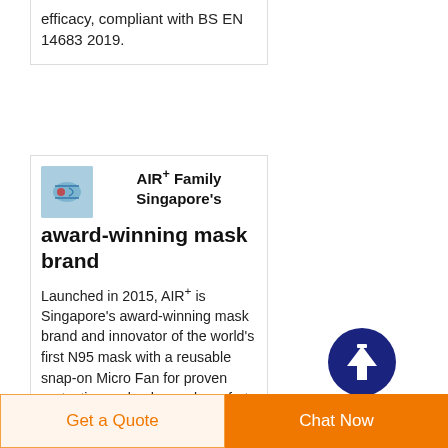efficacy, compliant with BS EN 14683 2019.
[Figure (logo): AIR+ brand logo — small product image with blue tones]
AIR+ Family Singapore's award-winning mask brand
Launched in 2015, AIR+ is Singapore's award-winning mask brand and innovator of the world's first N95 mask with a reusable snap-on Micro Fan for proven protection and enhanced comfort. Our family of products include N95 Mask for adults and children, our
[Figure (other): Dark blue circular scroll-to-top button with upward arrow icon]
Get a Quote
Chat Now